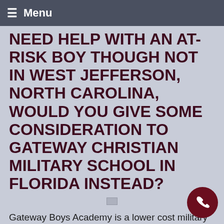≡ Menu
NEED HELP WITH AN AT-RISK BOY THOUGH NOT IN WEST JEFFERSON, NORTH CAROLINA, WOULD YOU GIVE SOME CONSIDERATION TO GATEWAY CHRISTIAN MILITARY SCHOOL IN FLORIDA INSTEAD?
Gateway Boys Academy is a lower cost military school in West Florida like no other. We are a military academy, an accredited school, as well as a working ranch and farm offering counseling and mentoring, competitive team sports, a spiritual emphasis, and hands-on outreach to help disadvantaged people in third-world countries, these are designed to bring about change in a boy's and life. When given the structure and discipline of a military